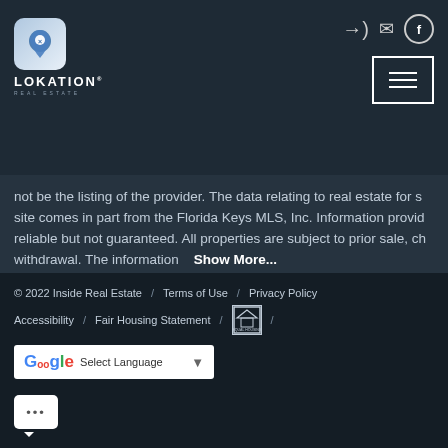[Figure (logo): Lokation Real Estate logo with map pin icon]
not be the listing of the provider. The data relating to real estate for s site comes in part from the Florida Keys MLS, Inc. Information provid reliable but not guaranteed. All properties are subject to prior sale, ch withdrawal. The information  Show More...
© 2022 Inside Real Estate / Terms of Use / Privacy Policy / Accessibility / Fair Housing Statement / [Equal Housing Logo] / Select Language ▼